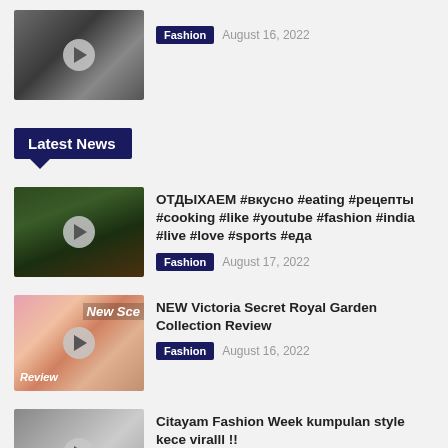[Figure (photo): Video thumbnail with play button, fashion image]
Fashion   August 16, 2022
Latest News
[Figure (photo): Food video thumbnail with play button, dark green leafy dish]
ОТДЫХАЕМ #вкусно #eating #рецепты #cooking #like #youtube #fashion #india #live #love #sports #еда
Fashion   August 17, 2022
[Figure (photo): Victoria Secret Royal Garden Collection perfume bottles, New Scent label, Review overlay]
NEW Victoria Secret Royal Garden Collection Review
Fashion   August 16, 2022
[Figure (photo): Citayam Fashion Week thumbnail, people on street]
Citayam Fashion Week kumpulan style kece viralll !!
Fashion   August 16, 2022